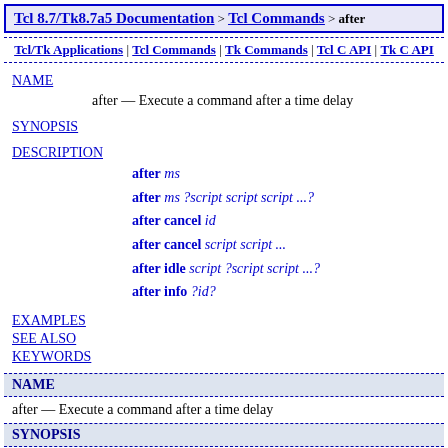Tcl 8.7/Tk8.7a5 Documentation > Tcl Commands > after
Tcl/Tk Applications | Tcl Commands | Tk Commands | Tcl C API | Tk C API
NAME
after — Execute a command after a time delay
SYNOPSIS
DESCRIPTION
after ms
after ms ?script script script ...?
after cancel id
after cancel script script ...
after idle script ?script script ...?
after info ?id?
EXAMPLES
SEE ALSO
KEYWORDS
NAME
after — Execute a command after a time delay
SYNOPSIS
after ms
after ms ?script script script ...?